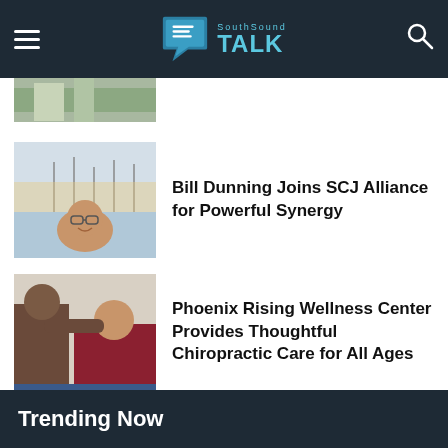SouthSound Talk
[Figure (photo): Partial article thumbnail at top, partially cropped]
Bill Dunning Joins SCJ Alliance for Powerful Synergy
[Figure (photo): Photo of a man smiling in front of boats at a marina]
Phoenix Rising Wellness Center Provides Thoughtful Chiropractic Care for All Ages
[Figure (photo): Photo of a chiropractor treating a patient]
Heritage Bank's 5 Ways To Create a Healthy Workplace Environment
[Figure (photo): Photo of people at a Heritage Bank event with banner]
Trending Now